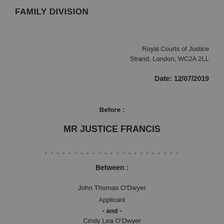FAMILY DIVISION
Royal Courts of Justice
Strand, London, WC2A 2LL
Date: 12/07/2019
Before :
MR JUSTICE FRANCIS
- - - - - - - - - - - - - - - - - - - - - - -
Between :
John Thomas O'Dwyer
Applicant
- and -
Cindy Lea O'Dwyer
Respondent